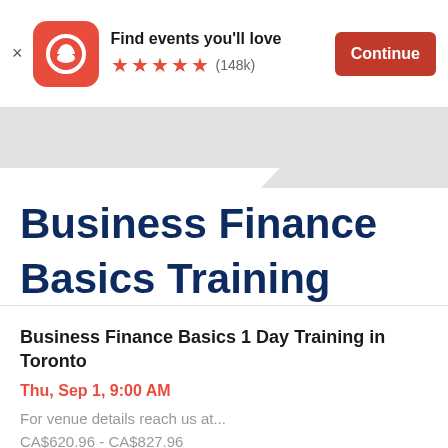Find events you'll love ★★★★★ (148k) Continue
[Figure (screenshot): Eventbrite app banner with logo, star rating (148k reviews), and Continue button]
Business Finance Basics Training
Business Finance Basics 1 Day Training in Toronto
Thu, Sep 1, 9:00 AM
For venue details  reach us at...
CA$620.96 - CA$827.96